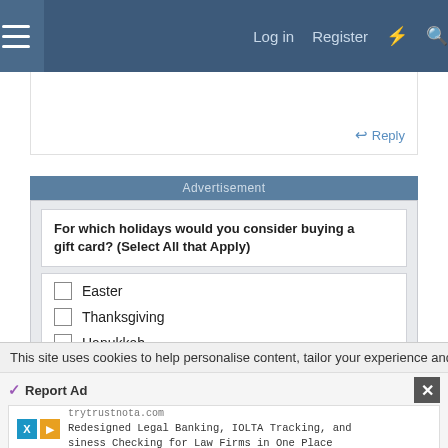Log in   Register
Reply
Advertisement
For which holidays would you consider buying a gift card? (Select All that Apply)
Easter
Thanksgiving
Hanukkah
Christmas
Kwanzaa
New Years
This site uses cookies to help personalise content, tailor your experience and to
Report Ad
trytrustnota.com
Redesigned Legal Banking, IOLTA Tracking, and siness Checking for Law Firms in One Place